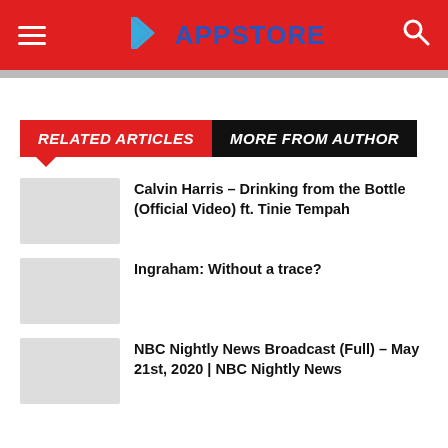APPSTORE
RELATED ARTICLES | MORE FROM AUTHOR
Calvin Harris – Drinking from the Bottle (Official Video) ft. Tinie Tempah
Ingraham: Without a trace?
NBC Nightly News Broadcast (Full) – May 21st, 2020 | NBC Nightly News